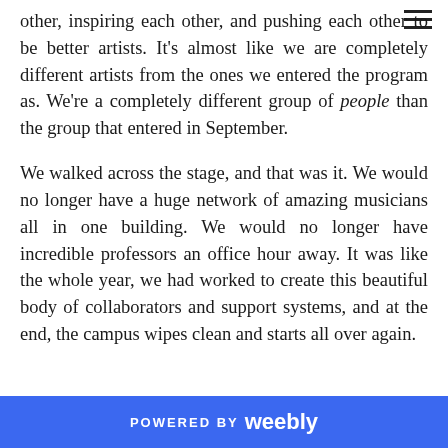other, inspiring each other, and pushing each other to be better artists. It's almost like we are completely different artists from the ones we entered the program as. We're a completely different group of people than the group that entered in September.

We walked across the stage, and that was it. We would no longer have a huge network of amazing musicians all in one building. We would no longer have incredible professors an office hour away. It was like the whole year, we had worked to create this beautiful body of collaborators and support systems, and at the end, the campus wipes clean and starts all over again.
POWERED BY weebly